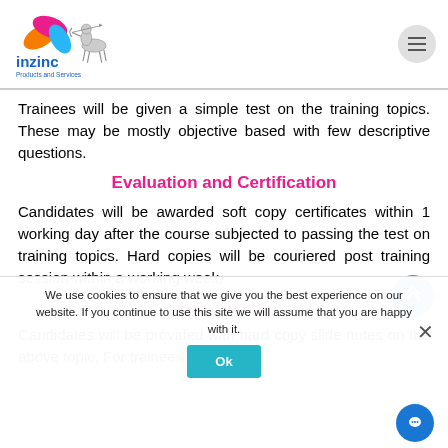[Figure (logo): Inzinc Products and Services logo with colorful swirl and archer centaur illustration]
Trainees will be given a simple test on the training topics. These may be mostly objective based with few descriptive questions.
Evaluation and Certification
Candidates will be awarded soft copy certificates within 1 working day after the course subjected to passing the test on training topics. Hard copies will be couriered post training session within a working week.
Study Material
Candidates will be provided with hard copy slide notes on the above topic. For trainees
We use cookies to ensure that we give you the best experience on our website. If you continue to use this site we will assume that you are happy with it.